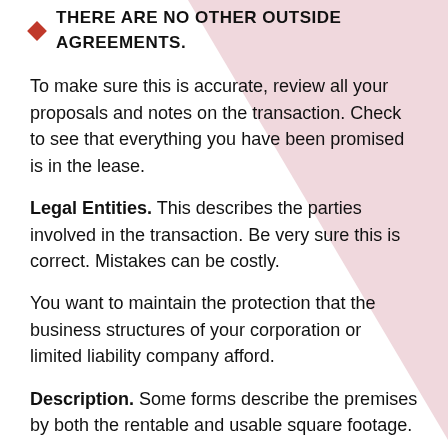THERE ARE NO OTHER OUTSIDE AGREEMENTS.
To make sure this is accurate, review all your proposals and notes on the transaction. Check to see that everything you have been promised is in the lease.
Legal Entities. This describes the parties involved in the transaction. Be very sure this is correct. Mistakes can be costly.
You want to maintain the protection that the business structures of your corporation or limited liability company afford.
Description. Some forms describe the premises by both the rentable and usable square footage.
Others give the suite number and refer to an exhibit, an architectural drawing of the space. In this case, always ask how recently the space was